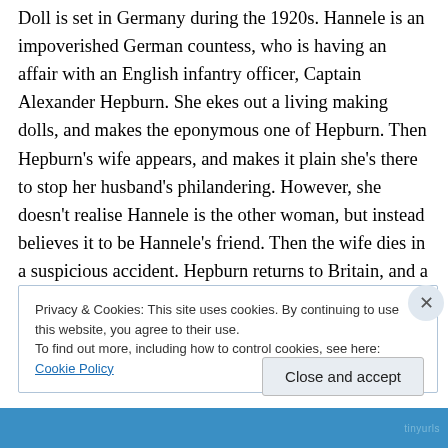Doll is set in Germany during the 1920s. Hannele is an impoverished German countess, who is having an affair with an English infantry officer, Captain Alexander Hepburn. She ekes out a living making dolls, and makes the eponymous one of Hepburn. Then Hepburn's wife appears, and makes it plain she's there to stop her husband's philandering. However, she doesn't realise Hannele is the other woman, but instead believes it to be Hannele's friend. Then the wife dies in a suspicious accident. Hepburn returns to Britain, and a year later hears that Hannele has moved to the Tyrol and is engaged
Privacy & Cookies: This site uses cookies. By continuing to use this website, you agree to their use. To find out more, including how to control cookies, see here: Cookie Policy
Close and accept